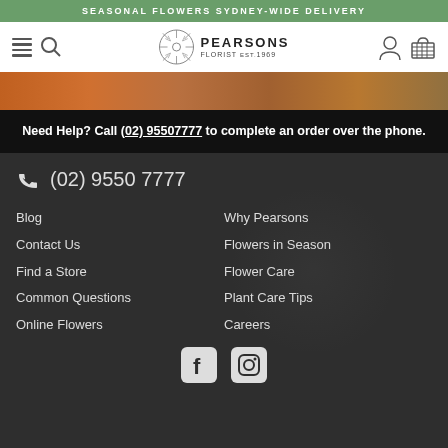SEASONAL FLOWERS SYDNEY-WIDE DELIVERY
[Figure (logo): Pearsons Florist est.1969 logo with circular flower emblem, hamburger menu icon, search icon, user icon, cart icon]
[Figure (photo): Partial view of colorful seasonal flowers in orange and warm tones]
Need Help? Call (02) 95507777 to complete an order over the phone.
(02) 9550 7777
Blog
Contact Us
Find a Store
Common Questions
Online Flowers
Why Pearsons
Flowers in Season
Flower Care
Plant Care Tips
Careers
[Figure (logo): Facebook and Instagram social media icons]